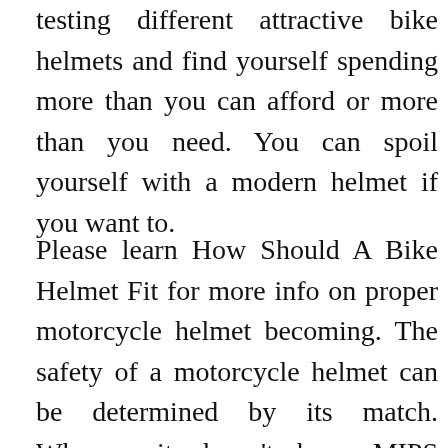testing different attractive bike helmets and find yourself spending more than you can afford or more than you need. You can spoil yourself with a modern helmet if you want to.
Please learn How Should A Bike Helmet Fit for more info on proper motorcycle helmet becoming. The safety of a motorcycle helmet can be determined by its match. Whereas it doesn't have MIPS expertise, this helmet is CPSC non xe dap Client Product Safety Commission certified and is made with a typical EPS foam and an ARS